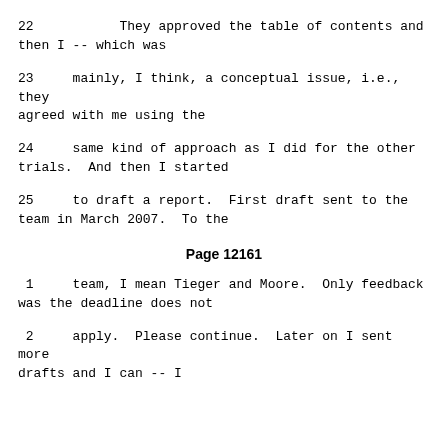22         They approved the table of contents and then I -- which was
23     mainly, I think, a conceptual issue, i.e., they agreed with me using the
24     same kind of approach as I did for the other trials.  And then I started
25     to draft a report.  First draft sent to the team in March 2007.  To the
Page 12161
1     team, I mean Tieger and Moore.  Only feedback was the deadline does not
2     apply.  Please continue.  Later on I sent more drafts and I can -- I